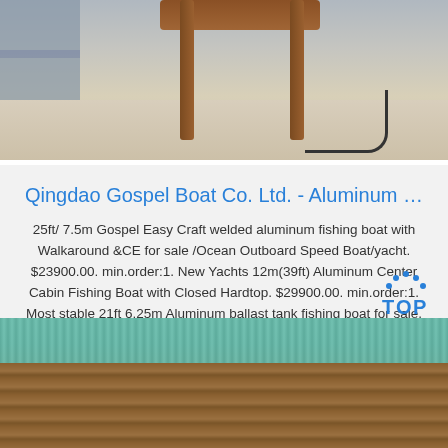[Figure (photo): Top portion: photo of interior space with wooden chair legs/seat and shelving visible on the left, cord/cable on floor. Beige/gray concrete floor.]
Qingdao Gospel Boat Co. Ltd. - Aluminum …
25ft/ 7.5m Gospel Easy Craft welded aluminum fishing boat with Walkaround &CE for sale /Ocean Outboard Speed Boat/yacht. $23900.00. min.order:1. New Yachts 12m(39ft) Aluminum Center Cabin Fishing Boat with Closed Hardtop. $29900.00. min.order:1. Most stable 21ft 6.25m Aluminum ballast tank fishing boat for sale. $14000.00 - $26000.00 ...
Get Price
[Figure (photo): Bottom portion: photo showing teal/green rope or textile material at top, with wooden plank surface below.]